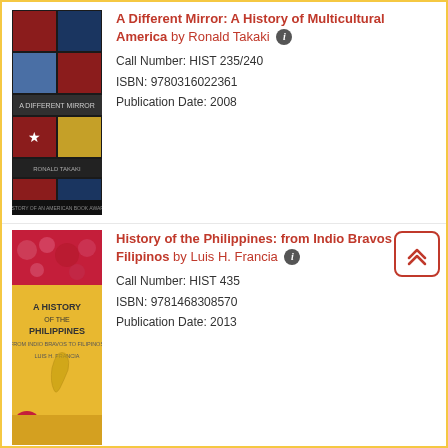[Figure (illustration): Book cover of 'A Different Mirror: A History of Multicultural America' by Ronald Takaki, showing American flag imagery in a grid layout]
A Different Mirror: A History of Multicultural America by Ronald Takaki [info icon]
Call Number: HIST 235/240
ISBN: 9780316022361
Publication Date: 2008
[Figure (illustration): Book cover of 'A History of the Philippines: from Indio Bravos to Filipinos' by Luis H. Francia, showing a yellow/gold cover with a map of the Philippines]
History of the Philippines: from Indio Bravos to Filipinos by Luis H. Francia [info icon]
Call Number: HIST 435
ISBN: 9781468308570
Publication Date: 2013
[Figure (illustration): Book cover of 'The Human Tradition in California' edited by Clark Davis and David Igler, blue spine with colorful artwork]
The Human Tradition in California by Clark Davis, ed.; David Igler, ed. [info icon]
Call Number: HIST 240
ISBN: 9780842050265
Publication Date: 2002